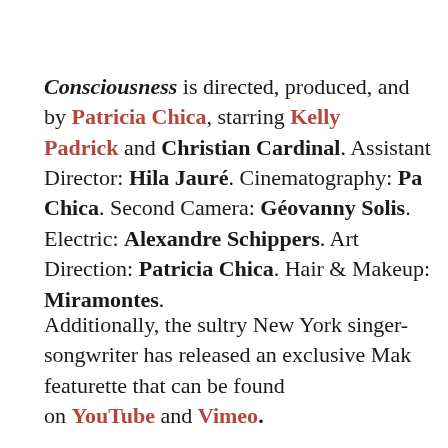Consciousness is directed, produced, and by Patricia Chica, starring Kelly Padrick and Christian Cardinal. Assistant Director: Hila Jauré. Cinematography: Pa Chica. Second Camera: Géovanny Solis. Electric: Alexandre Schippers. Art Direction: Patricia Chica. Hair & Makeup: Miramontes.
Additionally, the sultry New York singer-songwriter has released an exclusive Mak featurette that can be found on YouTube and Vimeo.